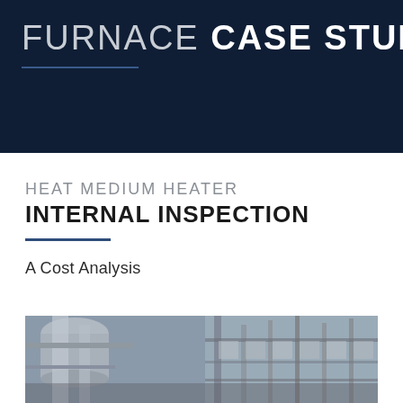FURNACE CASE STUDY
HEAT MEDIUM HEATER INTERNAL INSPECTION
A Cost Analysis
[Figure (photo): Industrial furnace or heat medium heater equipment photo showing pipes, ducts, and industrial structures]